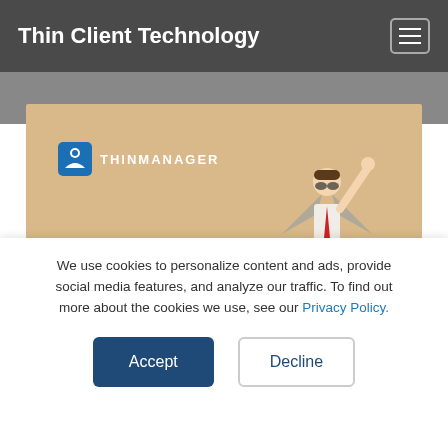Thin Client Technology
[Figure (photo): Hero banner with ThinManager logo, text 'Believe In INNOVATION', and a child dressed as a pilot with cardboard wings raising fist, standing on a skateboard against a beige/tan background with wood floor]
We use cookies to personalize content and ads, provide social media features, and analyze our traffic. To find out more about the cookies we use, see our Privacy Policy.
Accept
Decline